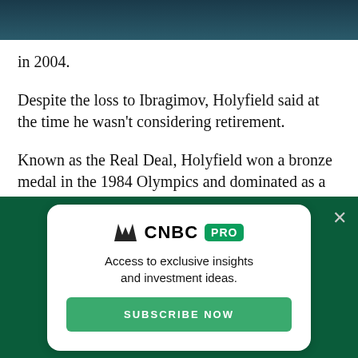in 2004.
Despite the loss to Ibragimov, Holyfield said at the time he wasn't considering retirement.
Known as the Real Deal, Holyfield won a bronze medal in the 1984 Olympics and dominated as a cruiserweight before making the move up to heavyweight, were he knocked out James (Buster) Douglas in 1990 to win the championship.
[Figure (other): CNBC PRO subscription modal overlay on a dark green background. Contains CNBC logo with PRO badge, tagline 'Access to exclusive insights and investment ideas.' and a green 'SUBSCRIBE NOW' button. A close (X) button appears in the top right of the overlay.]